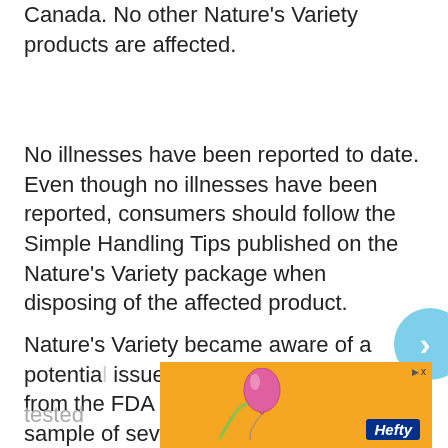Canada. No other Nature's Variety products are affected.
No illnesses have been reported to date. Even though no illnesses have been reported, consumers should follow the Simple Handling Tips published on the Nature's Variety package when disposing of the affected product.
Nature's Variety became aware of a potential issue after receiving notification from the FDA that a routine surveillance sample of seven pound Instinct Raw Chicken Bites for dogs tested
[Figure (other): Navigation arrow button (light blue circle with right-pointing chevron) and an advertisement banner for Hefty brand with orange background and balloon illustration]